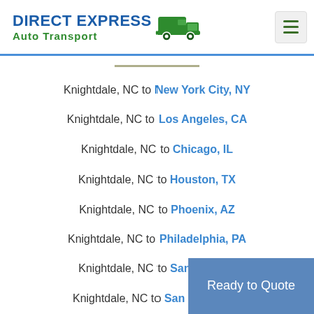DIRECT EXPRESS Auto Transport
Knightdale, NC to New York City, NY
Knightdale, NC to Los Angeles, CA
Knightdale, NC to Chicago, IL
Knightdale, NC to Houston, TX
Knightdale, NC to Phoenix, AZ
Knightdale, NC to Philadelphia, PA
Knightdale, NC to San Antonio
Knightdale, NC to San Diego, CA
Knightdale, NC to Dallas, TX
Ready to Quote